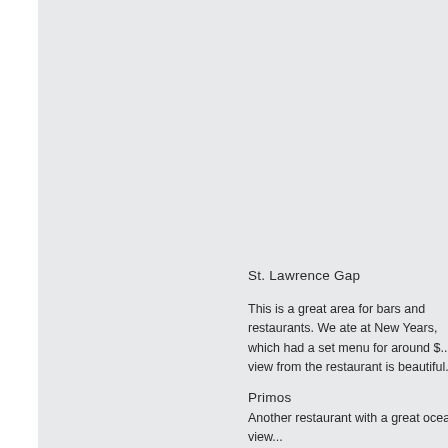St. Lawrence Gap
This is a great area for bars and restaurants. We ate at New Years, which had a set menu for around $... view from the restaurant is beautiful.
Primos
Another restaurant with a great ocean view...
...